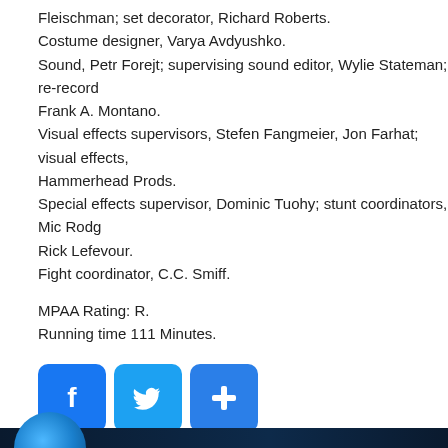Fleischman; set decorator, Richard Roberts.
Costume designer, Varya Avdyushko.
Sound, Petr Forejt; supervising sound editor, Wylie Stateman; re-record Frank A. Montano.
Visual effects supervisors, Stefen Fangmeier, Jon Farhat; visual effects, Hammerhead Prods.
Special effects supervisor, Dominic Tuohy; stunt coordinators, Mic Rodg Rick Lefevour.
Fight coordinator, C.C. Smiff.
MPAA Rating: R.
Running time 111 Minutes.
[Figure (infographic): Social media sharing buttons: Facebook (blue), Twitter (blue), and a blue plus/share button]
Filed Under: REVIEWS
[Figure (illustration): Dark blue banner at bottom with a glowing blue circle on the left]